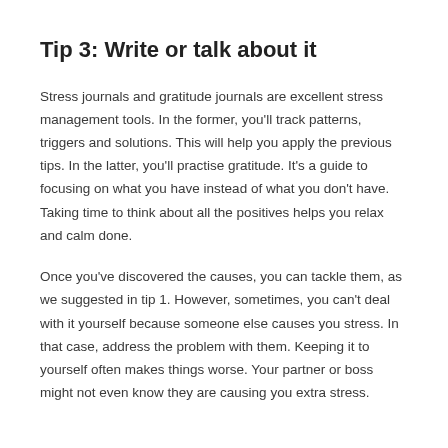Tip 3: Write or talk about it
Stress journals and gratitude journals are excellent stress management tools. In the former, you'll track patterns, triggers and solutions. This will help you apply the previous tips. In the latter, you'll practise gratitude. It's a guide to focusing on what you have instead of what you don't have. Taking time to think about all the positives helps you relax and calm done.
Once you've discovered the causes, you can tackle them, as we suggested in tip 1. However, sometimes, you can't deal with it yourself because someone else causes you stress. In that case, address the problem with them. Keeping it to yourself often makes things worse. Your partner or boss might not even know they are causing you extra stress.